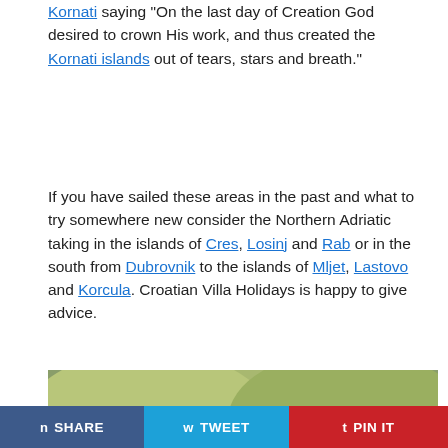Kornati saying "On the last day of Creation God desired to crown His work, and thus created the Kornati islands out of tears, stars and breath."
If you have sailed these areas in the past and what to try somewhere new consider the Northern Adriatic taking in the islands of Cres, Losinj and Rab or in the south from Dubrovnik to the islands of Mljet, Lastovo and Korcula. Croatian Villa Holidays is happy to give advice.
[Figure (photo): Aerial photograph of a Croatian island harbour with sailboats moored in blue water, a small village with terracotta-roofed stone buildings, and rocky hillsides covered in dry vegetation.]
n SHARE   w TWEET   t PIN IT